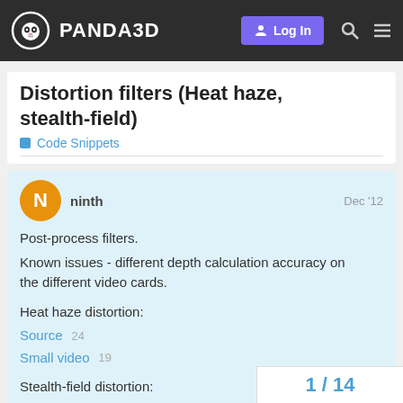PANDA3D — Log In
Distortion filters (Heat haze, stealth-field)
Code Snippets
ninth   Dec '12
Post-process filters.
Known issues - different depth calculation accuracy on the different video cards.

Heat haze distortion:
Source  24
Small video  19

Stealth-field distortion:
Source  9
Small video  11
1 / 14